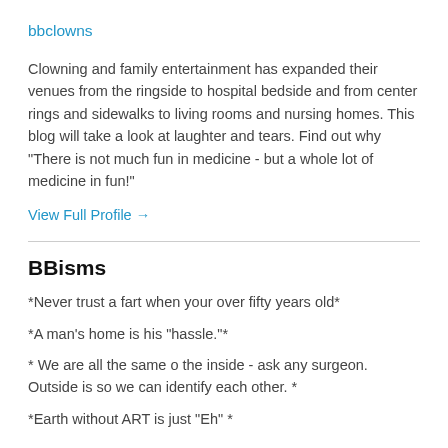bbclowns
Clowning and family entertainment has expanded their venues from the ringside to hospital bedside and from center rings and sidewalks to living rooms and nursing homes. This blog will take a look at laughter and tears. Find out why "There is not much fun in medicine - but a whole lot of medicine in fun!"
View Full Profile →
BBisms
*Never trust a fart when your over fifty years old*
*A man's home is his "hassle."*
* We are all the same o the inside - ask any surgeon. Outside is so we can identify each other. *
*Earth without ART is just "Eh" *